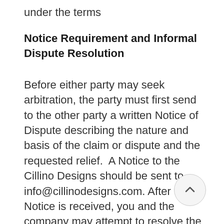under the terms
Notice Requirement and Informal Dispute Resolution
Before either party may seek arbitration, the party must first send to the other party a written Notice of Dispute describing the nature and basis of the claim or dispute and the requested relief.  A Notice to the Cillino Designs should be sent to info@cillinodesigns.com. After the Notice is received, you and the company may attempt to resolve the claim or dispute informally.  If you and Cillino Designs do not resolve the claim or dispute within thirty (30) days after the Notice is received, either party may begin an arbitration